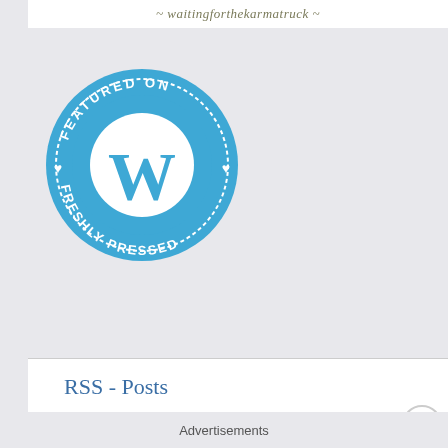~ waitingforthekarmatruck ~
[Figure (logo): WordPress Freshly Pressed circular badge in blue with white WordPress 'W' logo in center, text 'FEATURED ON' arced at top and 'FRESHLY PRESSED' arced at bottom, small hearts on left and right sides]
RSS - Posts
Advertisements